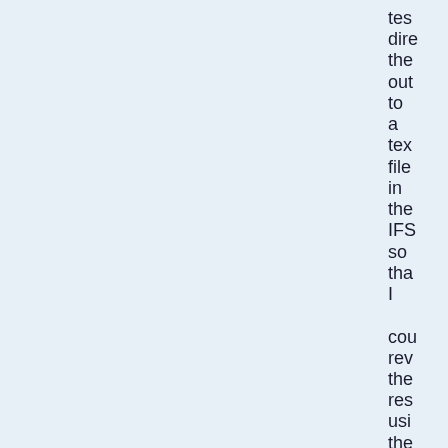tes dire the out to a tex file in the IFS so tha I cou rev the res usi the DS con or by FTI